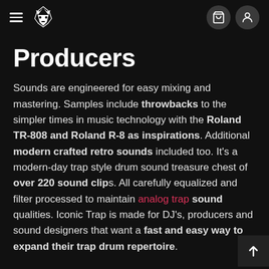Navigation bar with hamburger menu, logo, cart icon, and user icon
Producers
Sounds are engineered for easy mixing and mastering. Samples include throwbacks to the simpler times in music technology with the Roland TR-808 and Roland R-8 as inspirations. Additional modern crafted retro sounds included too. It's a modern-day trap style drum sound treasure chest of over 220 sound clips. All carefully equalized and filter processed to maintain analog trap sound qualities. Iconic Trap is made for DJ's, producers and sound designers that want a fast and easy way to expand their trap drum repertoire.